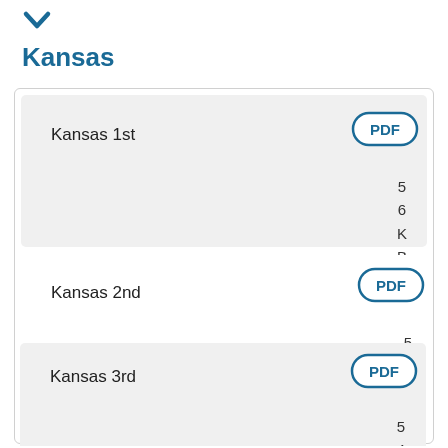[Figure (other): Blue downward chevron/arrow icon]
Kansas
Kansas 1st  PDF  5 6 KB
Kansas 2nd  PDF  5 5 KB
Kansas 3rd  PDF  5 4 K...